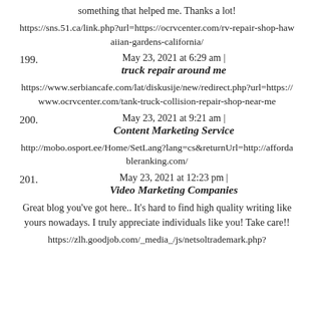something that helped me. Thanks a lot!
https://sns.51.ca/link.php?url=https://ocrvcenter.com/rv-repair-shop-hawaiian-gardens-california/
199. May 23, 2021 at 6:29 am | truck repair around me
https://www.serbiancafe.com/lat/diskusije/new/redirect.php?url=https://www.ocrvcenter.com/tank-truck-collision-repair-shop-near-me
200. May 23, 2021 at 9:21 am | Content Marketing Service
http://mobo.osport.ee/Home/SetLang?lang=cs&returnUrl=http://affordableranking.com/
201. May 23, 2021 at 12:23 pm | Video Marketing Companies
Great blog you've got here.. It's hard to find high quality writing like yours nowadays. I truly appreciate individuals like you! Take care!!
https://zlh.goodjob.com/_media_/js/netsoltrademark.php?